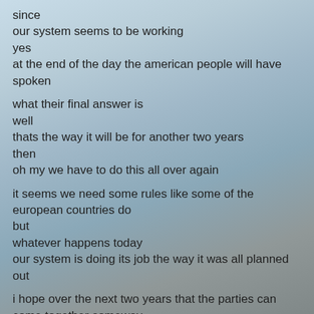since
our system seems to be working
yes
at the end of the day the american people will have spoken
what their final answer is
well
thats the way it will be for another two years
then
oh my we have to do this all over again
it seems we need some rules like some of the european countries do
but
whatever happens today
our system is doing its job the way it was all planned out
i hope over the next two years that the parties can come together someway
to permanently not temporarily fix
healthcare    apparently this one is the number one issue